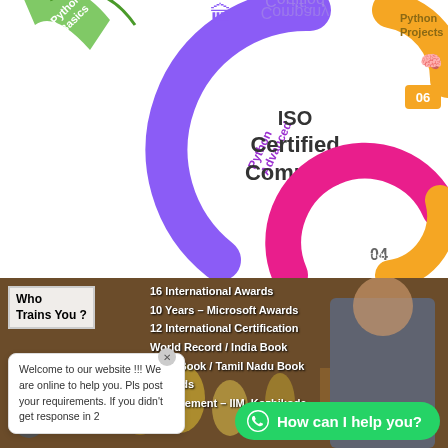[Figure (infographic): KaaShiv InfoTech Python course infographic with curved arcs numbered 04, 05, 06 showing Python Advanced, Python Machine Learning Advanced, Python Projects. Also shows Python Basics (green) and Python Projects in top corners, with ISO Certified Company text in center and a gear icon.]
[Figure (photo): Photo of a man sitting behind a table full of trophies and awards. Text overlaid shows trainer credentials including 16 International Awards, 10 Years Microsoft Awards, 12 International Certification, World Record/India Book/Tamil Nadu Book Records, Management IIM Kozhikode.]
Who
Trains You ?
16 International Awards
10 Years – Microsoft Awards
12 International Certification
World Record / India Book
India Book / Tamil Nadu Book
Records
Management – IIM, Kozhikode
Welcome to our website !!! We are online to help you. Pls post your requirements. If you didn't get response in 2
How can I help you?